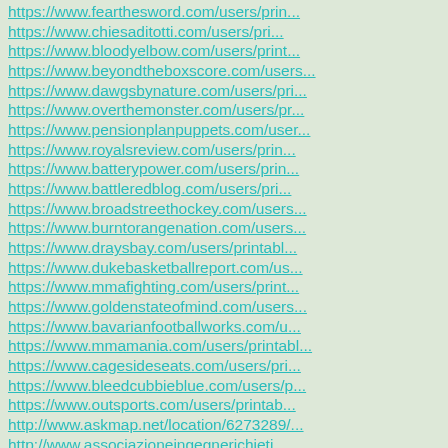https://www.fearthesword.com/users/prin...
https://www.chiesaditotti.com/users/pri...
https://www.bloodyelbow.com/users/print...
https://www.beyondtheboxscore.com/users...
https://www.dawgsbynature.com/users/pri...
https://www.overthemonster.com/users/pr...
https://www.pensionplanpuppets.com/user...
https://www.royalsreview.com/users/prin...
https://www.batterypower.com/users/prin...
https://www.battleredblog.com/users/pri...
https://www.broadstreethockey.com/users...
https://www.burntorangenation.com/users...
https://www.draysbay.com/users/printabl...
https://www.dukebasketballreport.com/us...
https://www.mmafighting.com/users/print...
https://www.goldenstateofmind.com/users...
https://www.bavarianfootballworks.com/u...
https://www.mmamania.com/users/printabl...
https://www.cagesideseats.com/users/pri...
https://www.bleedcubbieblue.com/users/p...
https://www.outsports.com/users/printab...
http://www.askmap.net/location/6273289/...
http://www.associazioneingegnerichieti...